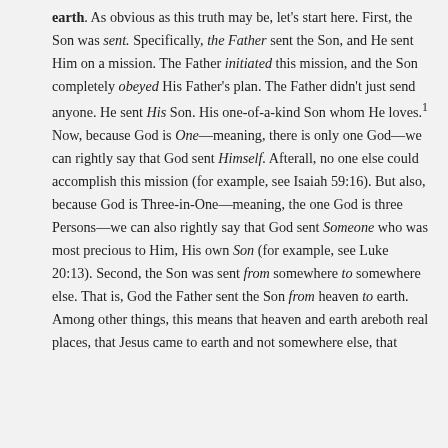earth. As obvious as this truth may be, let's start here. First, the Son was sent. Specifically, the Father sent the Son, and He sent Him on a mission. The Father initiated this mission, and the Son completely obeyed His Father's plan. The Father didn't just send anyone. He sent His Son. His one-of-a-kind Son whom He loves.¹ Now, because God is One—meaning, there is only one God—we can rightly say that God sent Himself. Afterall, no one else could accomplish this mission (for example, see Isaiah 59:16). But also, because God is Three-in-One—meaning, the one God is three Persons—we can also rightly say that God sent Someone who was most precious to Him, His own Son (for example, see Luke 20:13). Second, the Son was sent from somewhere to somewhere else. That is, God the Father sent the Son from heaven to earth. Among other things, this means that heaven and earth areboth real places, that Jesus came to earth and not somewhere else, that